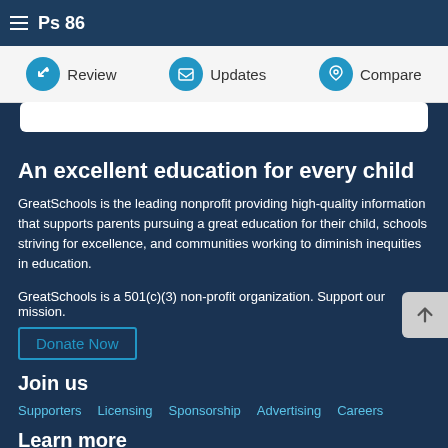Ps 86
Review   Updates   Compare
An excellent education for every child
GreatSchools is the leading nonprofit providing high-quality information that supports parents pursuing a great education for their child, schools striving for excellence, and communities working to diminish inequities in education.
GreatSchools is a 501(c)(3) non-profit organization. Support our mission.
Donate Now
Join us
Supporters
Licensing
Sponsorship
Advertising
Careers
Learn more
Newsletter
Privacy policy
Terms of use
About us
Contact us